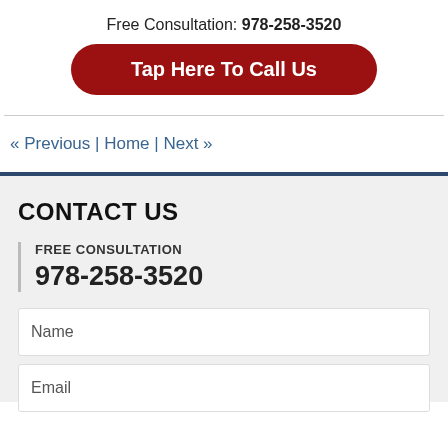Free Consultation: 978-258-3520
Tap Here To Call Us
« Previous | Home | Next »
CONTACT US
FREE CONSULTATION
978-258-3520
Name
Email